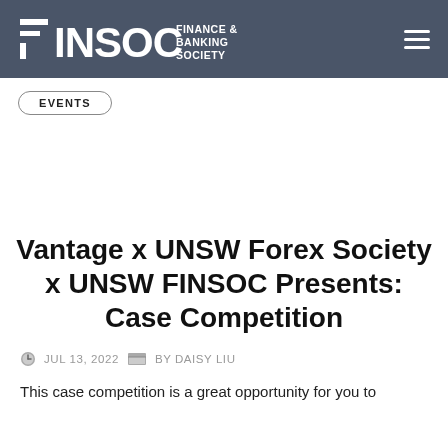FINSOC FINANCE & BANKING SOCIETY
EVENTS
Vantage x UNSW Forex Society x UNSW FINSOC Presents: Case Competition
JUL 13, 2022  BY DAISY LIU
This case competition is a great opportunity for you to